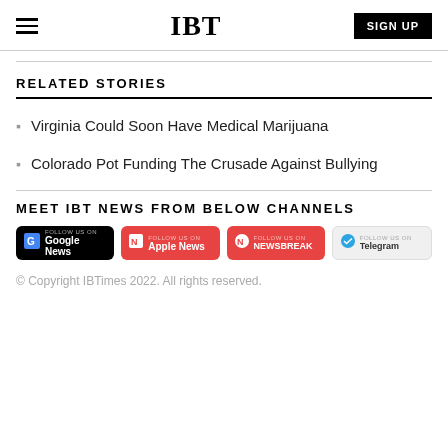IBT | SIGN UP
RELATED STORIES
Virginia Could Soon Have Medical Marijuana
Colorado Pot Funding The Crusade Against Bullying
MEET IBT NEWS FROM BELOW CHANNELS
[Figure (other): Social media channel badges: Google News, Apple News, Newsbreak, Telegram]
© Copyright IBTimes 2022. All rights reserved.